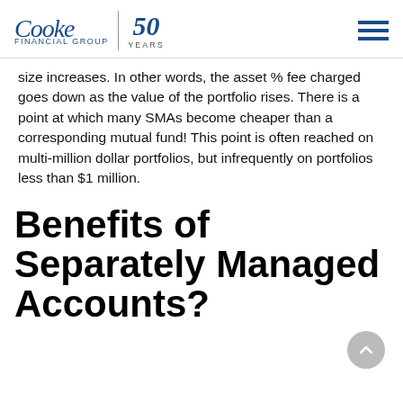Cooke Financial Group | 50 Years
size increases.  In other words, the asset % fee charged goes down as the value of the portfolio rises. There is a point at which many SMAs become cheaper than a corresponding mutual fund!  This point is often reached on multi-million dollar portfolios, but infrequently on portfolios less than $1 million.
Benefits of Separately Managed Accounts?